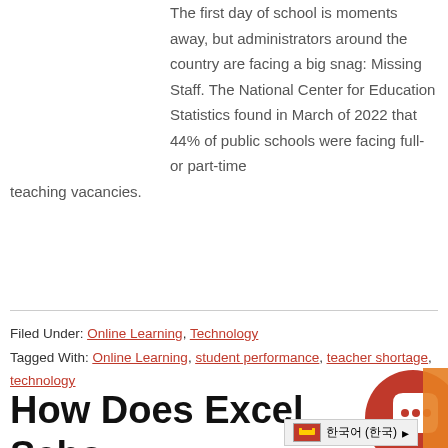The first day of school is moments away, but administrators around the country are facing a big snag: Missing Staff. The National Center for Education Statistics found in March of 2022 that 44% of public schools were facing full- or part-time teaching vacancies.
Filed Under: Online Learning, Technology
Tagged With: Online Learning, student performance, teacher shortage, technology
How Does Excel High School Work?